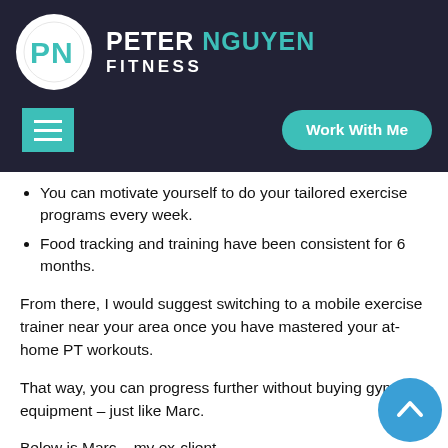PETER NGUYEN FITNESS
You can motivate yourself to do your tailored exercise programs every week.
Food tracking and training have been consistent for 6 months.
From there, I would suggest switching to a mobile exercise trainer near your area once you have mastered your at-home PT workouts.
That way, you can progress further without buying gym equipment – just like Marc.
Below is Marc – my ex-client